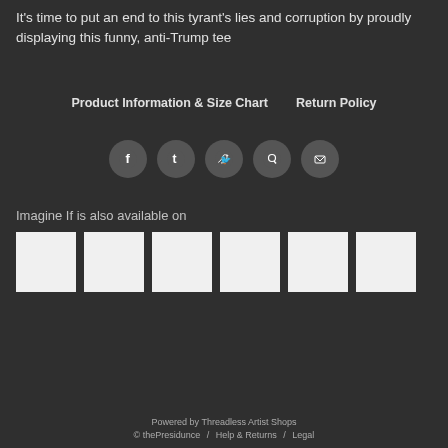It's time to put an end to this tyrant's lies and corruption by proudly displaying this funny, anti-Trump tee
Product Information & Size Chart   Return Policy
[Figure (infographic): Row of 5 circular social sharing icons: Facebook, Tumblr, Twitter, Pinterest, Email]
Imagine If is also available on
[Figure (infographic): Row of 6 white/light grey product thumbnail image placeholders]
Powered by Threadless Artist Shops
© thePresidunce  /  Help & Returns  /  Legal